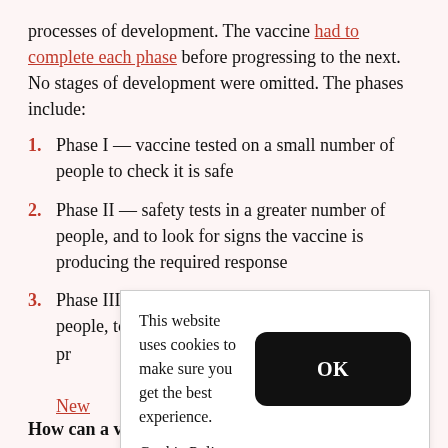processes of development. The vaccine had to complete each phase before progressing to the next. No stages of development were omitted. The phases include:
Phase I — vaccine tested on a small number of people to check it is safe
Phase II — safety tests in a greater number of people, and to look for signs the vaccine is producing the required response
Phase III — a big trial, involving thousands of people, to prove...
[Figure (screenshot): Cookie consent dialog overlay: 'This website uses cookies to make sure you get the best experience.' with OK button and Cookie Policy link]
How can a vaccine be developed so quickly?